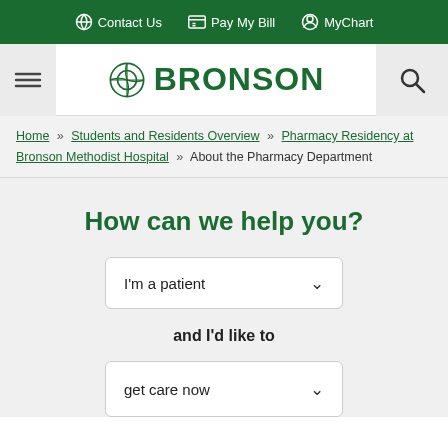Contact Us  Pay My Bill  MyChart
[Figure (logo): Bronson Healthcare logo with hamburger menu on left and search icon on right]
Home » Students and Residents Overview » Pharmacy Residency at Bronson Methodist Hospital » About the Pharmacy Department
How can we help you?
I'm a patient (dropdown)
and I'd like to
get care now (dropdown)